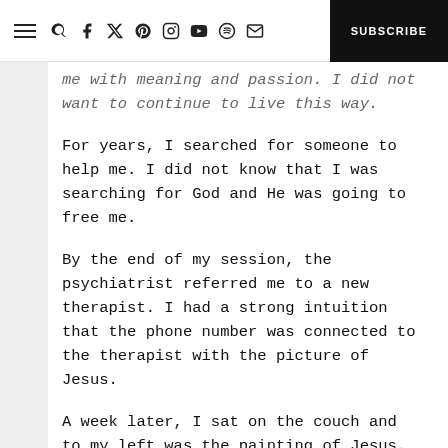☰ 🔍 f 𝕏 𝗽 ⓘ ▶ ♫ ✉ SUBSCRIBE
me with meaning and passion. I did not want to continue to live this way.
For years, I searched for someone to help me. I did not know that I was searching for God and He was going to free me.
By the end of my session, the psychiatrist referred me to a new therapist. I had a strong intuition that the phone number was connected to the therapist with the picture of Jesus.
A week later, I sat on the couch and to my left was the painting of Jesus. To my surprise, I trusted my new therapist instantly. I cannot explain why. As she asked me about my